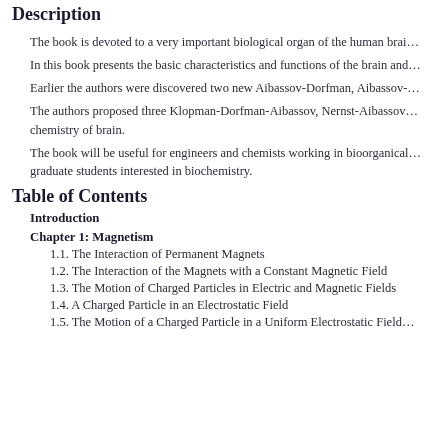Description
The book is devoted to a very important biological organ of the human brai…
In this book presents the basic characteristics and functions of the brain and…
Earlier the authors were discovered two new Aibassov-Dorfman, Aibassov-…
The authors proposed three Klopman-Dorfman-Aibassov, Nernst-Aibassov… chemistry of brain.
The book will be useful for engineers and chemists working in bioorganical… graduate students interested in biochemistry.
Table of Contents
Introduction
Chapter 1: Magnetism
1.1. The Interaction of Permanent Magnets
1.2. The Interaction of the Magnets with a Constant Magnetic Field
1.3. The Motion of Charged Particles in Electric and Magnetic Fields
1.4. A Charged Particle in an Electrostatic Field
1.5. The Motion of a Charged Particle in a Uniform Electrostatic Field…